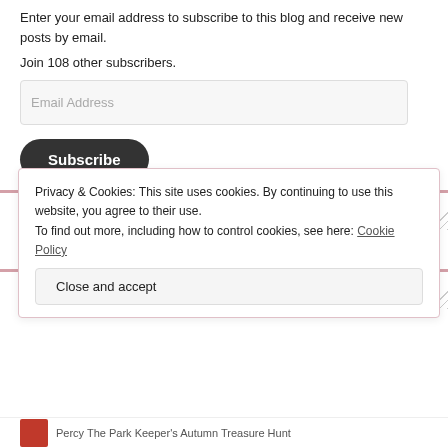Enter your email address to subscribe to this blog and receive new posts by email.
Join 108 other subscribers.
INSTAGRAM
TWITTER
Privacy & Cookies: This site uses cookies. By continuing to use this website, you agree to their use.
To find out more, including how to control cookies, see here: Cookie Policy
Close and accept
Percy The Park Keeper's Autumn Treasure Hunt